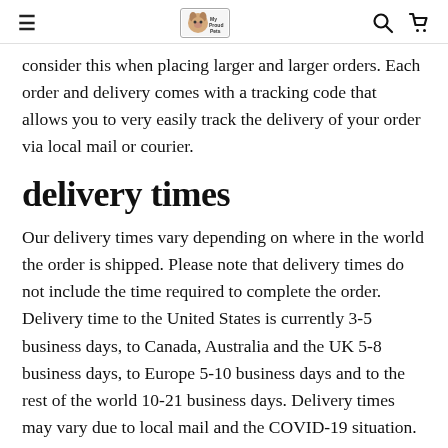≡  My Proud Pets  🔍  🛒
consider this when placing larger and larger orders. Each order and delivery comes with a tracking code that allows you to very easily track the delivery of your order via local mail or courier.
delivery times
Our delivery times vary depending on where in the world the order is shipped. Please note that delivery times do not include the time required to complete the order. Delivery time to the United States is currently 3-5 business days, to Canada, Australia and the UK 5-8 business days, to Europe 5-10 business days and to the rest of the world 10-21 business days. Delivery times may vary due to local mail and the COVID-19 situation.